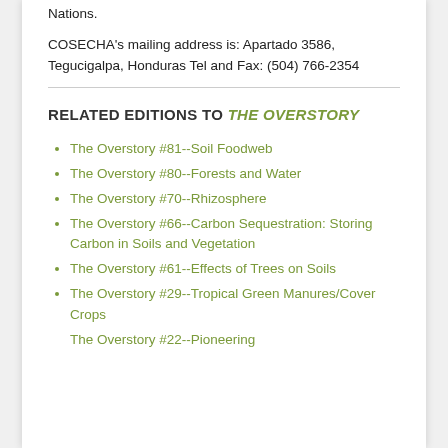COSECHA's mailing address is: Apartado 3586, Tegucigalpa, Honduras Tel and Fax: (504) 766-2354
RELATED EDITIONS TO THE OVERSTORY
The Overstory #81--Soil Foodweb
The Overstory #80--Forests and Water
The Overstory #70--Rhizosphere
The Overstory #66--Carbon Sequestration: Storing Carbon in Soils and Vegetation
The Overstory #61--Effects of Trees on Soils
The Overstory #29--Tropical Green Manures/Cover Crops
The Overstory #22--Pioneering